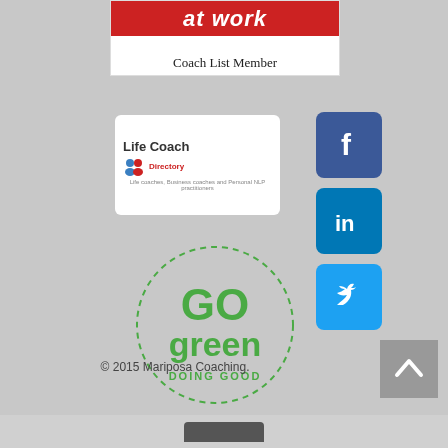[Figure (logo): at work Coach List Member banner with red header and white background]
[Figure (logo): Life Coach Directory logo in white rounded box]
[Figure (logo): Facebook social icon, blue square with white f]
[Figure (logo): LinkedIn social icon, blue square with white in]
[Figure (logo): Twitter social icon, light blue square with white bird]
[Figure (logo): GO green DOING GOOD circular badge in green]
© 2015 Mariposa Coaching.